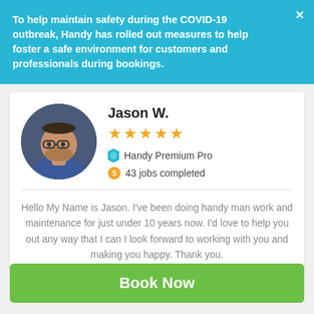To help maintain safety during the COVID-19 outbreak, Handy has rolled out measures to help foster a safe environment for customers and professionals during bookings.
Jason W.
[Figure (photo): Circular profile photo of Jason W., a man with glasses and a beard wearing a blue shirt]
★★★★★
Handy Premium Pro
43 jobs completed
Hello My Name is Jason. I've been doing handy man work and maintenance for just under 10 years now. I'd love to help you out any way that I can I look forward to working with you and making you happy. Thank you.
Book Now